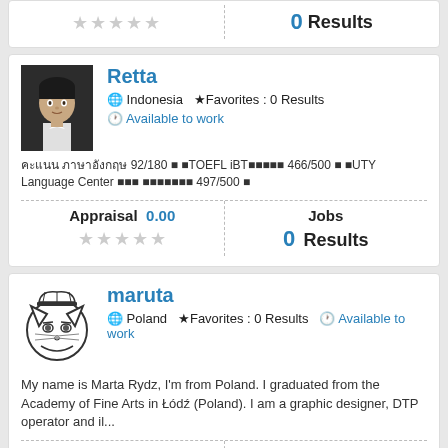0 Results (top partial card)
Retta — Indonesia ★Favorites : 0 Results — Available to work
คะแนน ภาษาอังกฤษ 92/180 ■ ■TOEFL iBT■■■■■ 466/500 ■ ■UTY Language Center ■■■ ■■■■■■■ 497/500 ■
Appraisal 0.00 — Jobs 0 Results
maruta — Poland ★Favorites : 0 Results — Available to work
My name is Marta Rydz, I'm from Poland. I graduated from the Academy of Fine Arts in Łódź (Poland). I am a graphic designer, DTP operator and il...
Appraisal 5.00 — Jobs 0 Results